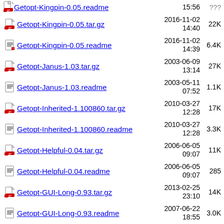Getopt-Kingpin-0.05.tar.gz  2016-11-02 14:40  22K
Getopt-Kingpin-0.05.readme  2016-11-02 14:39  6.4K
Getopt-Janus-1.03.tar.gz  2003-06-09 13:14  27K
Getopt-Janus-1.03.readme  2003-05-11 07:52  1.1K
Getopt-Inherited-1.100860.tar.gz  2010-03-27 12:28  17K
Getopt-Inherited-1.100860.readme  2010-03-27 12:28  3.3K
Getopt-Helpful-0.04.tar.gz  2006-06-05 09:07  11K
Getopt-Helpful-0.04.readme  2006-06-05 09:07  285
Getopt-GUI-Long-0.93.tar.gz  2013-02-25 23:10  14K
Getopt-GUI-Long-0.93.readme  2007-06-22 18:55  3.0K
Getopt-GUI-Long-0.92.tar.gz  2011-01-06 21:29  14K